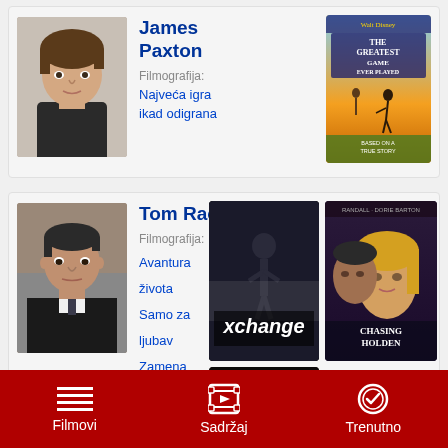[Figure (photo): James Paxton actor headshot - young man with brown hair]
James Paxton
Filmografija:
Najveća igra ikad odigrana
[Figure (photo): Movie poster: The Greatest Game Ever Played]
[Figure (photo): Tom Rack actor headshot - middle-aged man in suit and tie]
Tom Rack
Filmografija:
Avantura života
Samo za ljubav
Zamena
[Figure (photo): Movie poster: Xchange]
[Figure (photo): Movie poster: Chasing Holden]
[Figure (photo): Movie poster: For Love (Ivana Trump's)]
Filmovi   Sadržaj   Trenutno